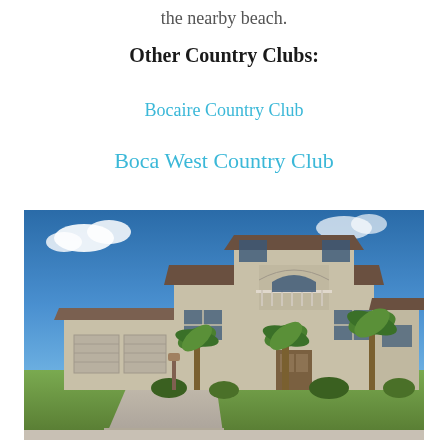the nearby beach.
Other Country Clubs:
Bocaire Country Club
Boca West Country Club
[Figure (photo): Two-story stucco suburban home with three-car garage, balcony, palm trees in front yard, blue sky with clouds, well-manicured lawn]